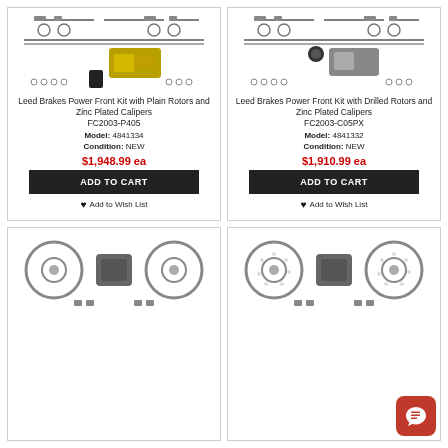[Figure (photo): Leed Brakes Power Front Kit with Plain Rotors and Zinc Plated Calipers product photo - brake kit components]
Leed Brakes Power Front Kit with Plain Rotors and Zinc Plated Calipers
FC2003-P405
Model: 4841334
Condition: NEW
$1,948.99 ea
ADD TO CART
Add to Wish List
[Figure (photo): Leed Brakes Power Front Kit with Drilled Rotors and Zinc Plated Calipers product photo - brake kit components]
Leed Brakes Power Front Kit with Drilled Rotors and Zinc Plated Calipers
FC2003-C05PX
Model: 4841332
Condition: NEW
$1,910.99 ea
ADD TO CART
Add to Wish List
[Figure (photo): Brake kit product photo - bottom left card, rotors and calipers visible]
[Figure (photo): Brake kit product photo - bottom right card, drilled rotors and calipers visible]